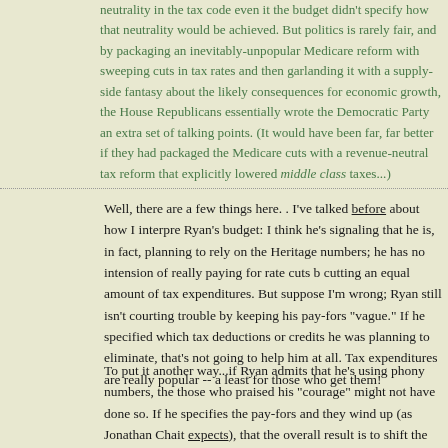neutrality in the tax code even it the budget didn't specify how that neutrality would be achieved. But politics is rarely fair, and by packaging an inevitably-unpopular Medicare reform with sweeping cuts in tax rates and then garlanding it with a supply-side fantasy about the likely consequences for economic growth, the House Republicans essentially wrote the Democratic Party an extra set of talking points. (It would have been far, far better if they had packaged the Medicare cuts with a revenue-neutral tax reform that explicitly lowered middle class taxes...)
Well, there are a few things here. . I've talked before about how I interpret Ryan's budget: I think he's signaling that he is, in fact, planning to rely on the Heritage numbers; he has no intension of really paying for rate cuts by cutting an equal amount of tax expenditures. But suppose I'm wrong; Ryan still isn't courting trouble by keeping his pay-fors "vague." If he specified which tax deductions or credits he was planning to eliminate, that's not going to help him at all. Tax expenditures are really popular -- at least for those who get them!
To put it another way...if Ryan admits that he's using phony numbers, then those who praised his "courage" might not have done so. If he specifies the pay-fors and they wind up (as Jonathan Chait expects), that the overall result is to shift the tax burden away from the rich, then Republicans get exactly what they're getting now (but with less wiggle room for objecting to it, if that matters). Or if Ryan somehow does come